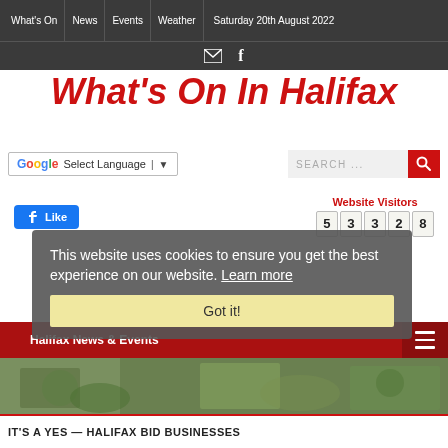What's On | News | Events | Weather | Saturday 20th August 2022
What's On In Halifax
[Figure (screenshot): Google Translate language selector widget and search box with red search button]
[Figure (screenshot): Facebook Like button and Website Visitors counter showing 53328]
[Figure (screenshot): Cookie consent overlay: 'This website uses cookies to ensure you get the best experience on our website. Learn more' with Got it! button]
Halifax News & Events
IT'S A YES — HALIFAX BID BUSINESSES